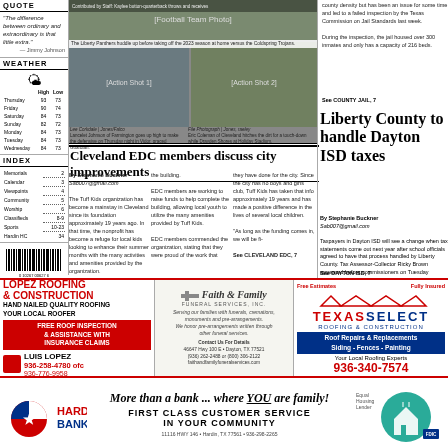QUOTE
"The difference between ordinary and extraordinary is that little extra." — Jimmy Johnson
WEATHER
|  | High | Low |
| --- | --- | --- |
| Thursday | 93 | 73 |
| Friday | 90 | 74 |
| Saturday | 84 | 73 |
| Sunday | 82 | 72 |
| Monday | 84 | 73 |
| Tuesday | 84 | 73 |
| Wednesday | 84 | 73 |
INDEX
| Section | Page |
| --- | --- |
| Memorials | 2 |
| Calendar | 3 |
| Viewpoints | 4 |
| Community | 5 |
| Worship | 6 |
| Classifieds | 8-9 |
| Sports | 10-23 |
| Hardin HC | 34 |
[Figure (photo): Football game action photos: Liberty Panthers before facing the Coldspring Trojans in the 2023 season. Multiple action shots including Lancelet Johnson at Farmington going up high, and Eric Coleman of Cleveland hitting the dirt for a touchdown at Holiday Stadium.]
The Liberty Panthers huddle up before taking off the 2023 season at home versus the Coldspring Trojans.
Lancelet Johnson of Farmington goes up high to make the defensive on Thursday night in Vidor, graced Guardian.
Eric Coleman of Cleveland hitches the dirt for a touchdown while Drayden Shores at Holiday Stadium.
county density but has been an issue for some time and led to a failed inspection by the Texas Commission on Jail Standards last week. During the inspection, the jail housed over 300 inmates and only has a capacity of 216 beds.
See COUNTY JAIL, 7
Liberty County to handle Dayton ISD taxes
By Stephanie Buckner
Sab007@gmail.com
Taxpayers in Dayton ISD will see a change when tax statements come out next year after school officials agreed to have that process handled by Liberty County. Tax Assessor-Collector Ricky Brown appeared before commissioners on Tuesday
See DAYTON ISD, 7
Cleveland EDC members discuss city improvements
By Stephanie Buckner
Sab007@gmail.com
The Tuff Kids organization has become a mainstay in Cleveland since its foundation approximately 19 years ago. In that time, the nonprofit has become a refuge for local kids looking to enhance their summer months with the many activities and amenities provided by the organization. Tuff Kids is currently working on renovating a local building that was gifted to them. EDC (Economic Development Corporation) members are looking to help raise funds to help complete the building. EDC members are working to raise funds to help complete the building, allowing local youth to utilize the many amenities provided by Tuff Kids. EDC members commended the organization, stating that they were proud of the work that they have done for the city. Since the city has no boys and girls club, Tuff Kids has taken that info approximately 19 years and has made a positive difference in the lives of several local children. "As long as the funding comes in, we will be fi-
See CLEVELAND EDC, 7
[Figure (infographic): Lopez Roofing & Construction advertisement: Hand Nailed Quality Roofing, Your Local Roofer. Free Roof Inspection & Assistance with Insurance Claims. Luis Lopez. 936-258-4780 ofc, 936-776-9958. Facebook.]
[Figure (infographic): Faith & Family Funeral Services, Inc. advertisement. Serving our families with funerals, cremations, monuments and pre-arrangements. We honor pre-arrangements written through other funeral services. Contact Us For Details. 46647 Hwy 100 E, Dayton TX 77521. (936) 262-2488 or (800) 306-2122. faithandfamilyfuneralservices.com]
[Figure (infographic): Texas Select Roofing & Construction advertisement. Free Estimates. Fully Insured. Roof Repairs & Replacements. Siding - Fences - Painting. Your Local Roofing Experts. 936-340-7574]
[Figure (infographic): Hardin Bank advertisement. More than a bank... where YOU are family! First Class Customer Service In Your Community. 11116 HWY 146, Hardin, TX 77561. 936-298-2265. Member FDIC.]